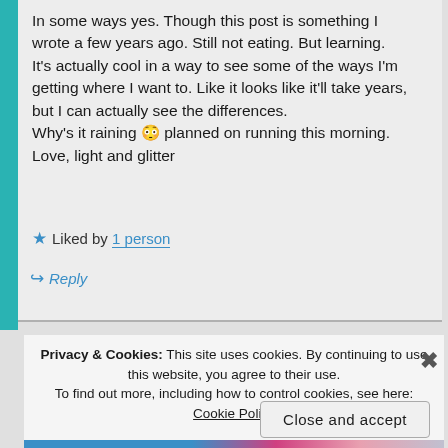In some ways yes. Though this post is something I wrote a few years ago. Still not eating. But learning. It's actually cool in a way to see some of the ways I'm getting where I want to. Like it looks like it'll take years, but I can actually see the differences.
Why's it raining 😕 planned on running this morning.
Love, light and glitter
★ Liked by 1 person
↪ Reply
Privacy & Cookies: This site uses cookies. By continuing to use this website, you agree to their use. To find out more, including how to control cookies, see here: Cookie Policy
Close and accept